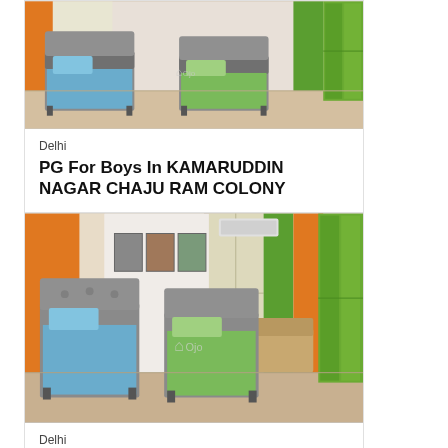[Figure (photo): Interior of a PG room showing two single beds with blue and green bedding, grey upholstered headboards, orange curtains, green wardrobe, and watermark logo]
Delhi
PG For Boys In KAMARUDDIN NAGAR CHAJU RAM COLONY
[Figure (photo): Interior of a PG room showing two single beds with blue and green bedding, grey upholstered headboards, orange and green curtains, green wardrobe, wall-mounted AC, framed photos on wall, and watermark logo]
Delhi
PG For Boys In DEOLI BLOCK CHURCH COLONY